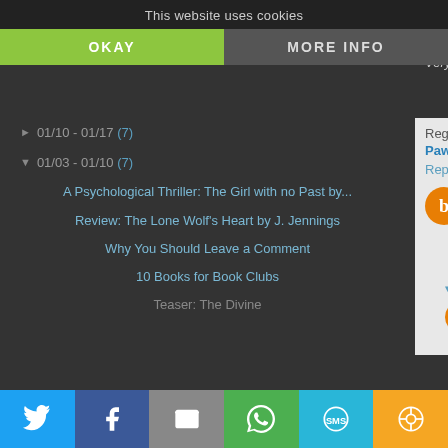This website uses cookies
OKAY
MORE INFO
01/10 - 01/17 (7)
01/03 - 01/10 (7)
A Psychological Thriller: The Girl with no Past by...
Review: The Lone Wolf's Heart by J. Jennings
Why You Should Leave a Comment
10 Books for Book Clubs
Teaser: The Divine
Very nice article. I always try to leave
Regards,
Pawan Bahuguna
Reply
Lisa Medley January 10, 2016 at 9:3
The only reason I don't leave comm bloggers make their websites comme it's a tremendous pain in the behind hoops. Yours is EASY! Well done and
Reply
Replies
Unknown January 12, 2016
wonderful points altogether, y What could you recommend some days ago?